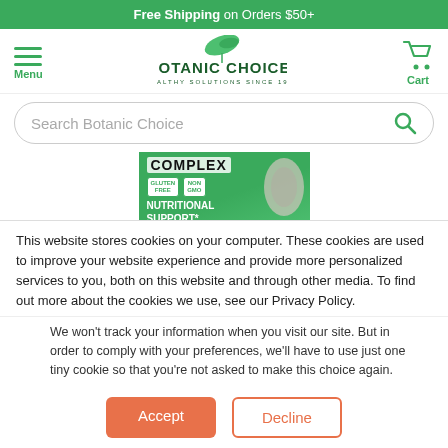Free Shipping on Orders $50+
[Figure (screenshot): Botanic Choice logo with menu and cart icons, search bar]
[Figure (photo): Product image partially visible: Complex Nutritional Support with Gluten Free and Non-GMO badges, ear graphic]
This website stores cookies on your computer. These cookies are used to improve your website experience and provide more personalized services to you, both on this website and through other media. To find out more about the cookies we use, see our Privacy Policy.
We won't track your information when you visit our site. But in order to comply with your preferences, we'll have to use just one tiny cookie so that you're not asked to make this choice again.
Accept
Decline